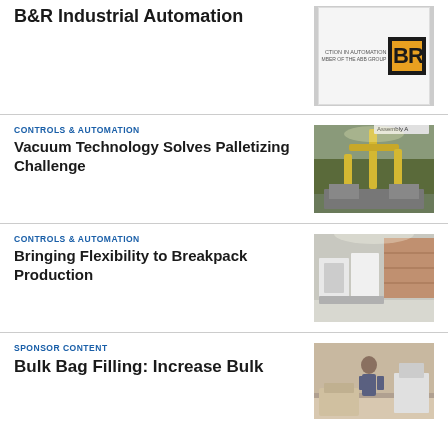B&R Industrial Automation
[Figure (logo): B&R Industrial Automation logo — orange and black B&R icon with text 'CTION IN AUTOMATION MBER OF THE ABB GROUP']
CONTROLS & AUTOMATION
Vacuum Technology Solves Palletizing Challenge
[Figure (photo): Industrial palletizing robot arm in a warehouse facility, yellow robot arms visible]
CONTROLS & AUTOMATION
Bringing Flexibility to Breakpack Production
[Figure (photo): Factory floor with industrial machinery and white equipment panels, warehouse shelving in background]
SPONSOR CONTENT
Bulk Bag Filling: Increase Bulk
[Figure (photo): Person standing in warehouse near bulk bag filling equipment]